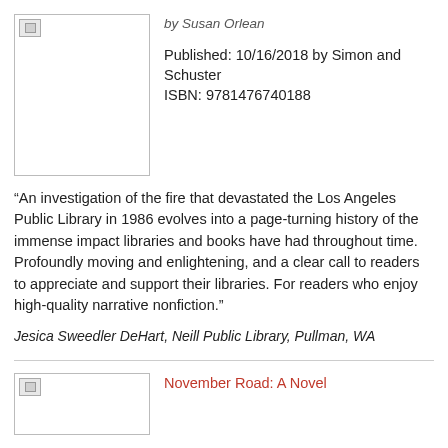[Figure (illustration): Book cover placeholder image with broken image icon]
by Susan Orlean
Published: 10/16/2018 by Simon and Schuster
ISBN: 9781476740188
“An investigation of the fire that devastated the Los Angeles Public Library in 1986 evolves into a page-turning history of the immense impact libraries and books have had throughout time. Profoundly moving and enlightening, and a clear call to readers to appreciate and support their libraries. For readers who enjoy high-quality narrative nonfiction.”
Jesica Sweedler DeHart, Neill Public Library, Pullman, WA
[Figure (illustration): Book cover placeholder image with broken image icon]
November Road: A Novel